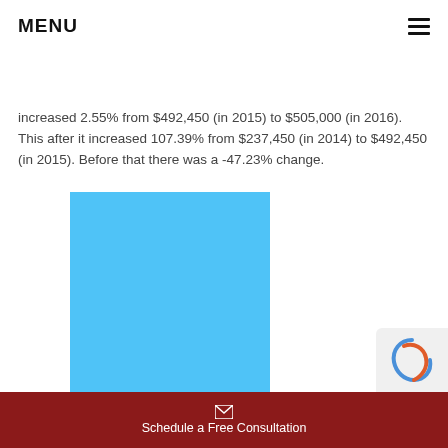MENU
increased 2.55% from $492,450 (in 2015) to $505,000 (in 2016). This after it increased 107.39% from $237,450 (in 2014) to $492,450 (in 2015). Before that there was a -47.23% change.
[Figure (bar-chart): ]
Schedule a Free Consultation